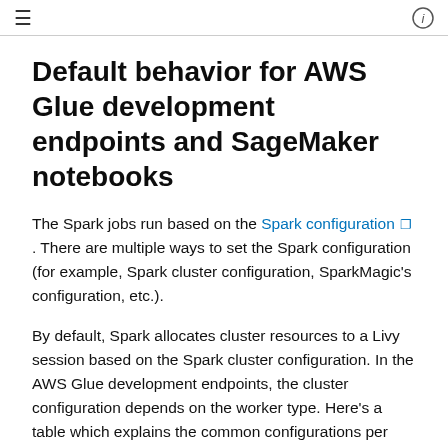≡   ⓘ
Default behavior for AWS Glue development endpoints and SageMaker notebooks
The Spark jobs run based on the Spark configuration. There are multiple ways to set the Spark configuration (for example, Spark cluster configuration, SparkMagic's configuration, etc.).
By default, Spark allocates cluster resources to a Livy session based on the Spark cluster configuration. In the AWS Glue development endpoints, the cluster configuration depends on the worker type. Here's a table which explains the common configurations per worker type.